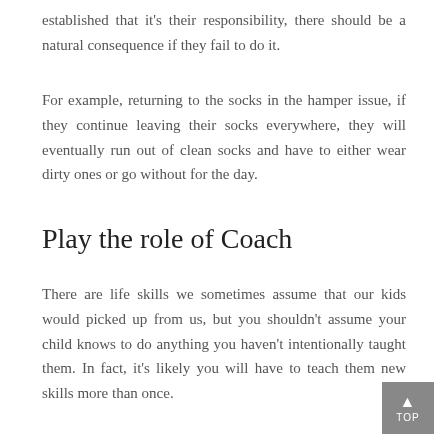established that it's their responsibility, there should be a natural consequence if they fail to do it.
For example, returning to the socks in the hamper issue, if they continue leaving their socks everywhere, they will eventually run out of clean socks and have to either wear dirty ones or go without for the day.
Play the role of Coach
There are life skills we sometimes assume that our kids would picked up from us, but you shouldn't assume your child knows to do anything you haven't intentionally taught them. In fact, it's likely you will have to teach them new skills more than once.